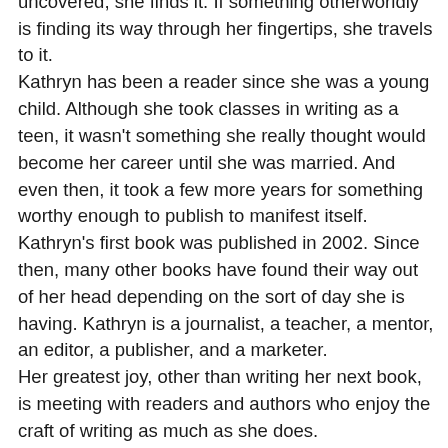Christian fiction book. If a mystery is waiting to be uncovered, she finds it. If something otherworldly is finding its way through her fingertips, she travels to it. Kathryn has been a reader since she was a young child. Although she took classes in writing as a teen, it wasn't something she really thought would become her career until she was married. And even then, it took a few more years for something worthy enough to publish to manifest itself. Kathryn's first book was published in 2002. Since then, many other books have found their way out of her head depending on the sort of day she is having. Kathryn is a journalist, a teacher, a mentor, an editor, a publisher, and a marketer. Her greatest joy, other than writing her next book, is meeting with readers and authors who enjoy the craft of writing as much as she does.